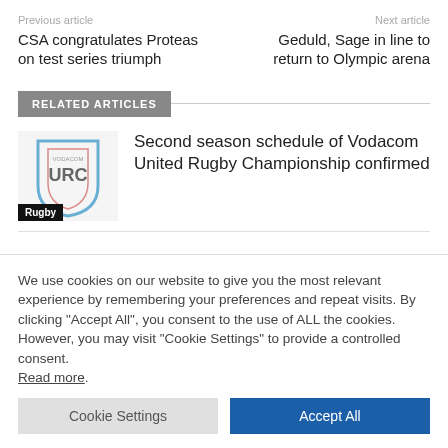Previous article
Next article
CSA congratulates Proteas on test series triumph
Geduld, Sage in line to return to Olympic arena
RELATED ARTICLES
[Figure (logo): Vodacom United Rugby Championship logo]
Rugby
Second season schedule of Vodacom United Rugby Championship confirmed
We use cookies on our website to give you the most relevant experience by remembering your preferences and repeat visits. By clicking “Accept All”, you consent to the use of ALL the cookies. However, you may visit “Cookie Settings” to provide a controlled consent. Read more.
Cookie Settings
Accept All